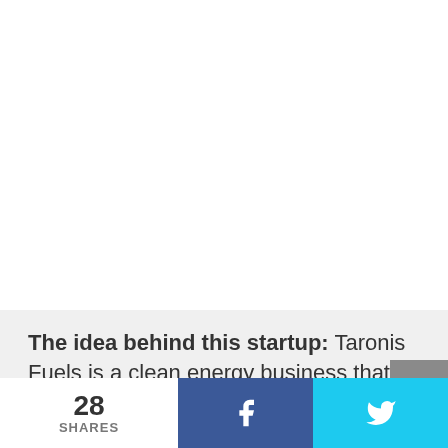[Figure (photo): White/blank area at top of page, likely an image placeholder or cropped image region]
The idea behind this startup: Taronis Fuels is a clean energy business that provides technical approaches to renewable fuels and
28 SHARES | f | (Twitter bird icon)